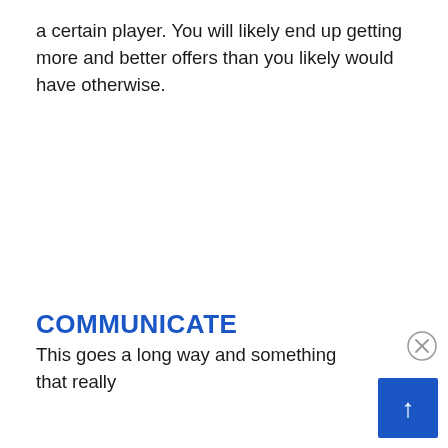a certain player. You will likely end up getting more and better offers than you likely would have otherwise.
COMMUNICATE
This goes a long way and something that really